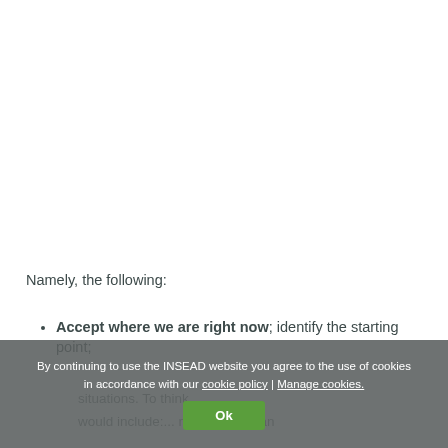Namely, the following:
Accept where we are right now; identify the starting point;
By continuing to use the INSEAD website you agree to the use of cookies in accordance with our cookie policy | Manage cookies.